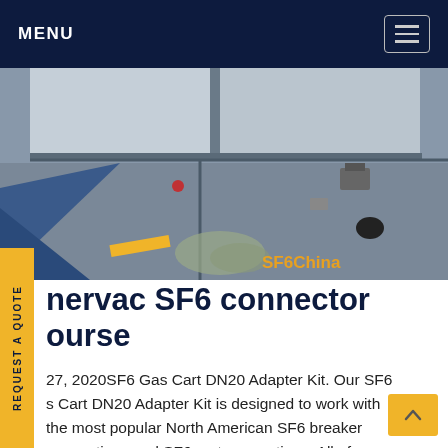MENU
[Figure (photo): Industrial/engineering photo showing SF6 equipment components viewed from above, with metal panels, wiring, and yellow safety markings. Watermark 'SF6China' appears in orange in the bottom right.]
nervac SF6 connector ourse
27, 2020SF6 Gas Cart DN20 Adapter Kit. Our SF6 s Cart DN20 Adapter Kit is designed to work with the most popular North American SF6 breaker connections and SF6 cart connections. All of our fittings are precisely manufactured and imported from Italy. The case is a rugged and waterproof SKR